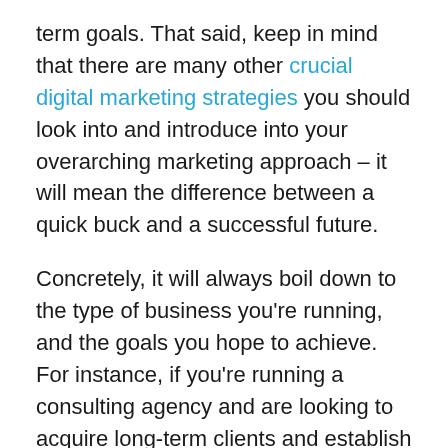term goals. That said, keep in mind that there are many other crucial digital marketing strategies you should look into and introduce into your overarching marketing approach – it will mean the difference between a quick buck and a successful future.
Concretely, it will always boil down to the type of business you're running, and the goals you hope to achieve. For instance, if you're running a consulting agency and are looking to acquire long-term clients and establish trusting relationships over time, then SEO is definitely the way to go.
On the other hand, if you're running an eCommerce